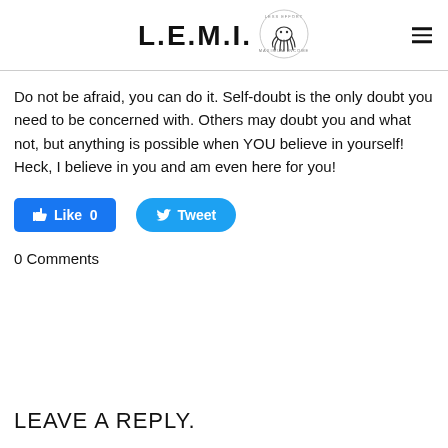L.E.M.I.
Do not be afraid, you can do it. Self-doubt is the only doubt you need to be concerned with. Others may doubt you and what not, but anything is possible when YOU believe in yourself! Heck, I believe in you and am even here for you!
[Figure (other): Facebook Like button with count 0 and Twitter Tweet button]
0 Comments
LEAVE A REPLY.